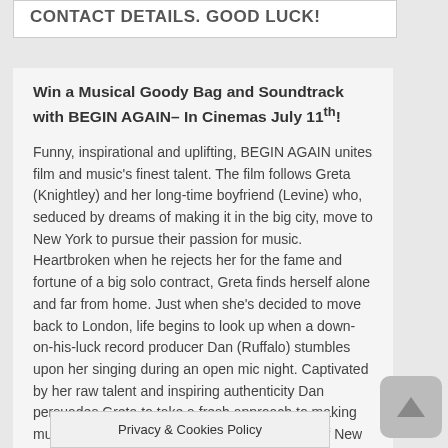CONTACT DETAILS. GOOD LUCK!
Win a Musical Goody Bag and Soundtrack with BEGIN AGAIN– In Cinemas July 11th!
Funny, inspirational and uplifting, BEGIN AGAIN unites film and music's finest talent. The film follows Greta (Knightley) and her long-time boyfriend (Levine) who, seduced by dreams of making it in the big city, move to New York to pursue their passion for music. Heartbroken when he rejects her for the fame and fortune of a big solo contract, Greta finds herself alone and far from home. Just when she's decided to move back to London, life begins to look up when a down-on-his-luck record producer Dan (Ruffalo) stumbles upon her singing during an open mic night. Captivated by her raw talent and inspiring authenticity Dan persuades Greta to take a fresh approach to making music and together they transform the streets of New York in to their recording studio, giving the city and their careers one final s…
Privacy & Cookies Policy